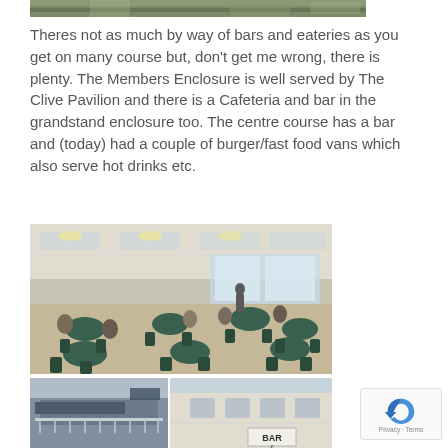[Figure (photo): Partial top image showing a racecourse grandstand exterior, green turf and structures visible]
Theres not as much by way of bars and eateries as you get on many course but, don't get me wrong, there is plenty. The Members Enclosure is well served by The Clive Pavilion and there is a Cafeteria and bar in the grandstand enclosure too. The centre course has a bar and (today) had a couple of burger/fast food vans which also serve hot drinks etc.
[Figure (photo): Interior of a hospitality or Members Enclosure area with green-clothed round tables and chairs, people seated inside a large bright room]
[Figure (photo): Bottom left: exterior view of racecourse grandstand balcony area]
[Figure (photo): Bottom right: exterior building facade with a BAR sign visible]